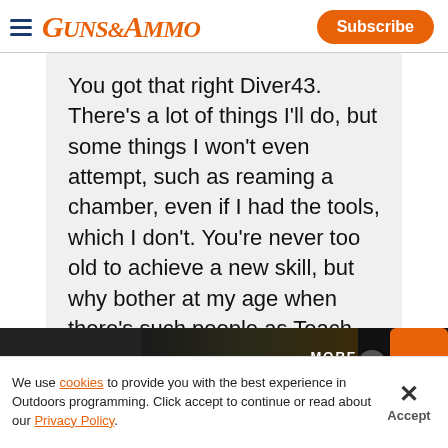GUNS&AMMO | Subscribe
You got that right Diver43. There's a lot of things I'll do, but some things I won't even attempt, such as reaming a chamber, even if I had the tools, which I don't. You're never too old to achieve a new skill, but why bother at my age when there's such people as Teach, Tennmike, Big Al, and others out there that got past that point ma…ger in life(Also, I do hav…
[Figure (screenshot): Advertisement banner: NEW FEDERAL logo with arrow and MORE HITS. text on dark background]
We use cookies to provide you with the best experience in Outdoors programming. Click accept to continue or read about our Privacy Policy.